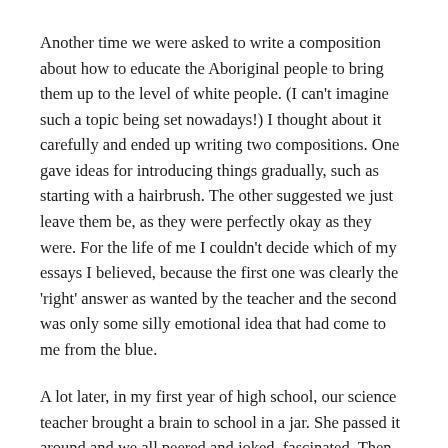Another time we were asked to write a composition about how to educate the Aboriginal people to bring them up to the level of white people. (I can't imagine such a topic being set nowadays!) I thought about it carefully and ended up writing two compositions. One gave ideas for introducing things gradually, such as starting with a hairbrush. The other suggested we just leave them be, as they were perfectly okay as they were. For the life of me I couldn't decide which of my essays I believed, because the first one was clearly the 'right' answer as wanted by the teacher and the second was only some silly emotional idea that had come to me from the blue.
A lot later, in my first year of high school, our science teacher brought a brain to school in a jar. She passed it around and we all peered and joked, fascinated. Then she told us that it was a child's brain. I was suddenly